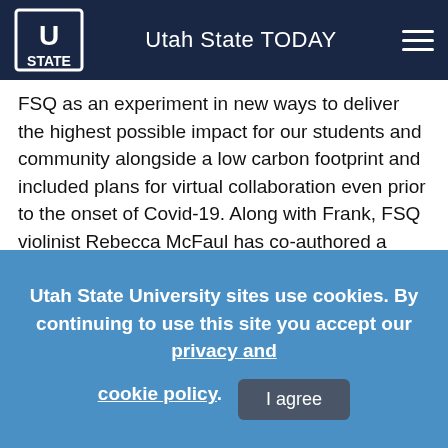Utah State TODAY
FSQ as an experiment in new ways to deliver the highest possible impact for our students and community alongside a low carbon footprint and included plans for virtual collaboration even prior to the onset of Covid-19. Along with Frank, FSQ violinist Rebecca McFaul has co-authored a series of articles on sustainability in Chamber Music Magazine.

“In meeting and working with Gabriela, I found a kindred spirit in my wish to push my beloved profession towards
Utah State University sites use cookies. By continuing to use this site you accept our privacy and cookie policy.